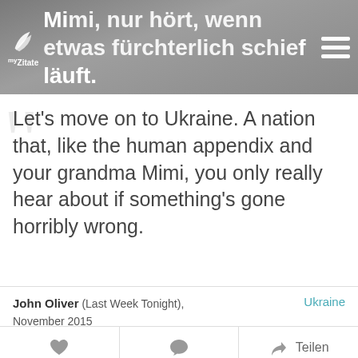Mimi, nur hört, wenn etwas fürchterlich schief läuft.
Let's move on to Ukraine. A nation that, like the human appendix and your grandma Mimi, you only really hear about if something's gone horribly wrong.
John Oliver (Last Week Tonight), November 2015 — Ukraine